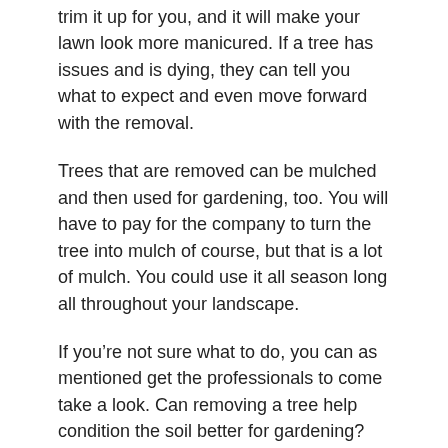trim it up for you, and it will make your lawn look more manicured. If a tree has issues and is dying, they can tell you what to expect and even move forward with the removal.
Trees that are removed can be mulched and then used for gardening, too. You will have to pay for the company to turn the tree into mulch of course, but that is a lot of mulch. You could use it all season long all throughout your landscape.
If you’re not sure what to do, you can as mentioned get the professionals to come take a look. Can removing a tree help condition the soil better for gardening? That’s one question you may have for the tree removal service. When you do talk to these companies, you’re going to want to ask them questions so that you hire the best one.
Once you talk with a tree service company, you can have them come out regularly to do some work. Annual trimming is beneficial to your lawn, landscape and garden, too, not just